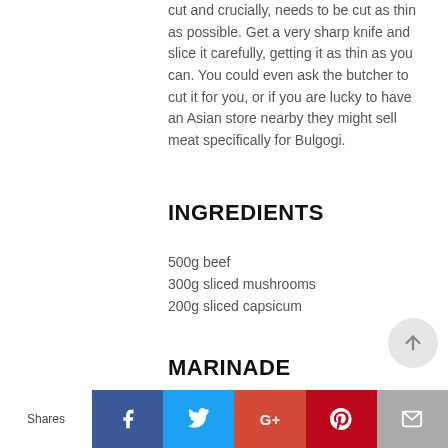cut and crucially, needs to be cut as thin as possible. Get a very sharp knife and slice it carefully, getting it as thin as you can. You could even ask the butcher to cut it for you, or if you are lucky to have an Asian store nearby they might sell meat specifically for Bulgogi.
INGREDIENTS
500g beef
300g sliced mushrooms
200g sliced capsicum
MARINADE
3 tbsp soy sauce
2 tbsp sugar
Shares | f | 🐦 | G+ | 𝗣 | ✉